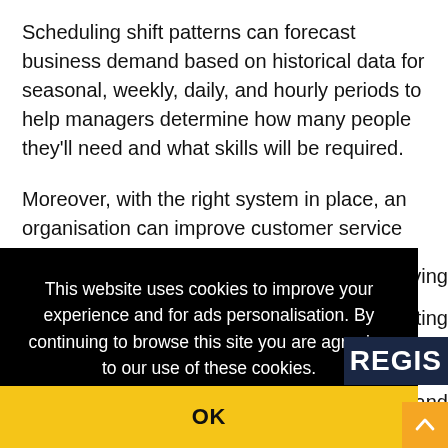Scheduling shift patterns can forecast business demand based on historical data for seasonal, weekly, daily, and hourly periods to help managers determine how many people they'll need and what skills will be required.
Moreover, with the right system in place, an organisation can improve customer service by resolving [issues, eliminating] ... s and
This website uses cookies to improve your experience and for ads personalisation. By continuing to browse this site you are agreeing to our use of these cookies. You can learn more about the cookies we use here.
OK